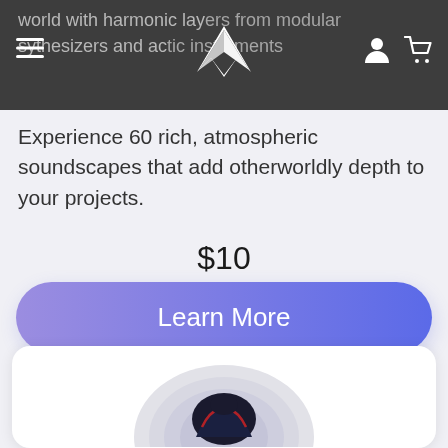world with harmonic layers from modular synthesizers and acoustic instruments
Experience 60 rich, atmospheric soundscapes that add otherworldly depth to your projects.
$10
Learn More
[Figure (illustration): Circular illustrated product card showing a stylized dark figure with red accents on a light gray layered circular background]